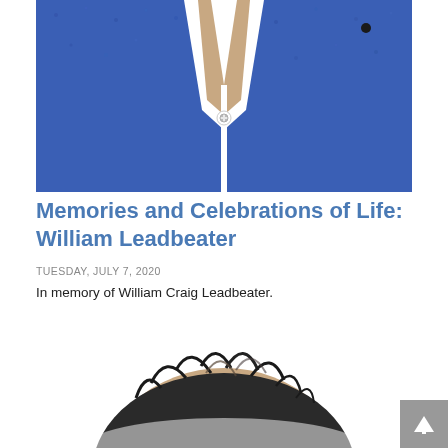[Figure (photo): Top portion of a person wearing a blue textured shirt with white V-neck collar detail, photo cropped at neck/chest level]
Memories and Celebrations of Life: William Leadbeater
TUESDAY, JULY 7, 2020
In memory of William Craig Leadbeater.
[Figure (photo): Top of a person's head with dark hair, photo cropped showing only the top of the head and hair against a white background]